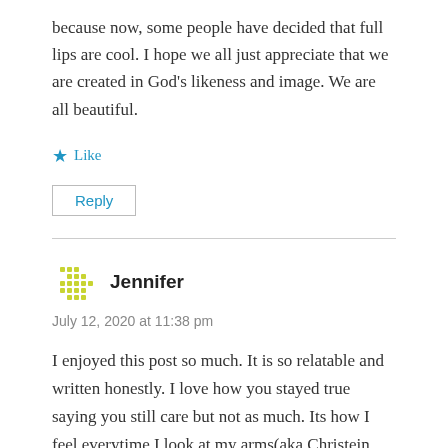because now, some people have decided that full lips are cool. I hope we all just appreciate that we are created in God's likeness and image. We are all beautiful.
★ Like
Reply
Jennifer
July 12, 2020 at 11:38 pm
I enjoyed this post so much. It is so relatable and written honestly. I love how you stayed true saying you still care but not as much. Its how I feel everytime I look at my arms(aka Christein mother arm) and think